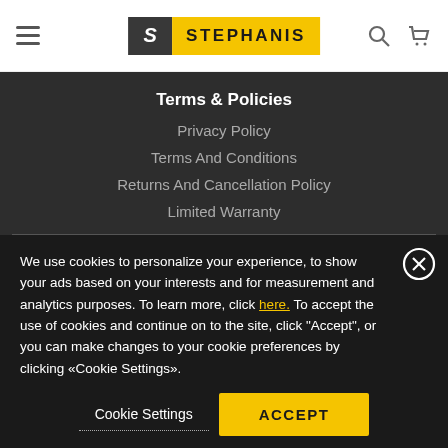STEPHANIS — Header navigation with hamburger menu, logo, search and cart icons
Terms & Policies
Privacy Policy
Terms And Conditions
Returns And Cancellation Policy
Limited Warranty
We use cookies to personalize your experience, to show your ads based on your interests and for measurement and analytics purposes. To learn more, click here. To accept the use of cookies and continue on to the site, click "Accept", or you can make changes to your cookie preferences by clicking «Cookie Settings».
Cookie Settings
ACCEPT